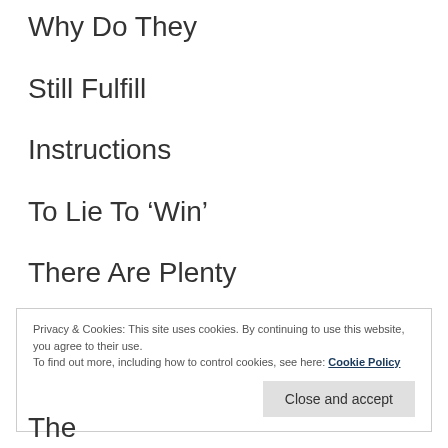Why Do They
Still Fulfill
Instructions
To Lie To ‘Win’
There Are Plenty
Who Will Still Say Yes...
Privacy & Cookies: This site uses cookies. By continuing to use this website, you agree to their use.
To find out more, including how to control cookies, see here: Cookie Policy
Close and accept
The